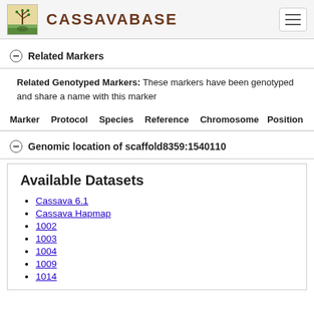CASSAVABASE
Related Markers
Related Genotyped Markers: These markers have been genotyped and share a name with this marker
| Marker | Protocol | Species | Reference | Chromosome | Position |
| --- | --- | --- | --- | --- | --- |
Genomic location of scaffold8359:1540110
Available Datasets
Cassava 6.1
Cassava Hapmap
1002
1003
1004
1009
1014